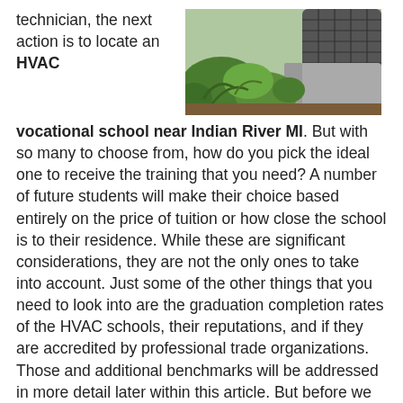technician, the next action is to locate an HVAC vocational school near Indian River MI. But with so many to choose from, how do you pick the ideal one to receive the training that you need? A number of future students will make their choice based entirely on the price of tuition or how close the school is to their residence. While these are significant considerations, they are not the only ones to take into account. Just some of the other things that you need to look into are the graduation completion rates of the HVAC schools, their reputations, and if they are accredited by professional trade organizations. Those and additional benchmarks will be addressed in more detail later within this article. But before we explore how to select an HVAC training program, let's take a look at what a heating and a/c specialist does to become a licensed qualified tradesman.
[Figure (photo): Outdoor HVAC air conditioning unit surrounded by green plants and foliage]
Becoming an HVAC Contractor